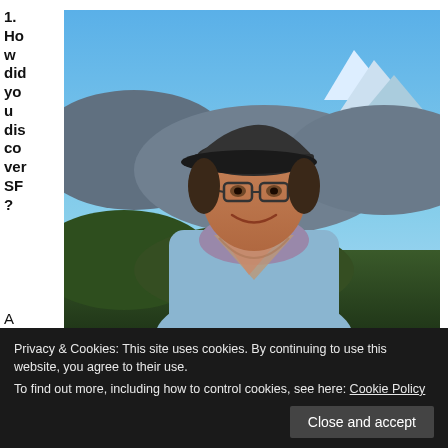1. How did you discover SF?
[Figure (photo): Person wearing a dark cap and glasses, smiling outdoors with mountain and blue sky background, wearing a light blue shirt and patterned scarf/neckerchief]
A friend of
Privacy & Cookies: This site uses cookies. By continuing to use this website, you agree to their use.
To find out more, including how to control cookies, see here: Cookie Policy
Close and accept